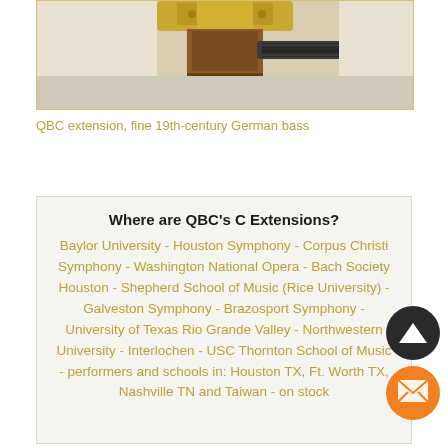[Figure (photo): Close-up photo of a QBC extension mechanism on a fine 19th-century German bass, showing brass and dark metal hardware with wooden components]
QBC extension, fine 19th-century German bass
Where are QBC's C Extensions?
Baylor University - Houston Symphony - Corpus Christi Symphony - Washington National Opera - Bach Society Houston - Shepherd School of Music (Rice University) - Galveston Symphony - Brazosport Symphony - University of Texas Rio Grande Valley - Northwestern University - Interlochen - USC Thornton School of Music - performers and schools in: Houston TX, Ft. Worth TX, Nashville TN and Taiwan - on stock